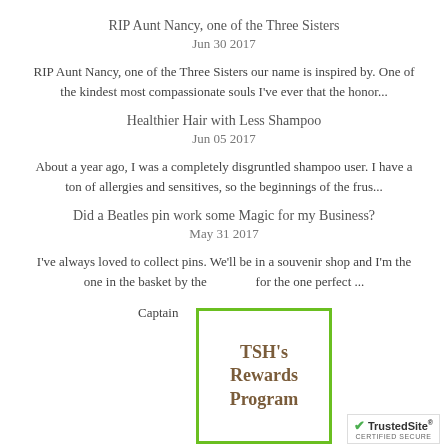RIP Aunt Nancy, one of the Three Sisters
Jun 30 2017
RIP Aunt Nancy, one of the Three Sisters our name is inspired by. One of the kindest most compassionate souls I've ever that the honor...
Healthier Hair with Less Shampoo
Jun 05 2017
About a year ago, I was a completely disgruntled shampoo user. I have a ton of allergies and sensitives, so the beginnings of the frus...
Did a Beatles pin work some Magic for my Business?
May 31 2017
I've always loved to collect pins. We'll be in a souvenir shop and I'm the one in the basket by the... for the one perfect ...
Captain ... mmunity
[Figure (other): TSH's Rewards Program green-bordered overlay box]
[Figure (logo): TrustedSite CERTIFIED SECURE badge with green checkmark]